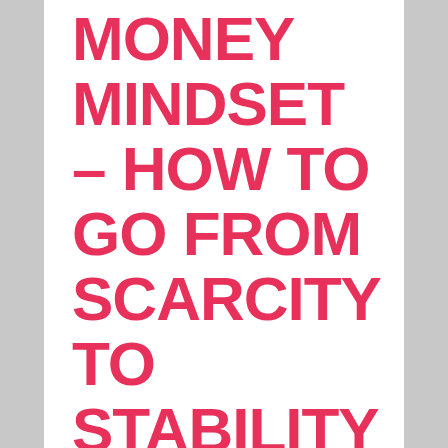MONEY MINDSET – HOW TO GO FROM SCARCITY TO STABILITY
by Elizabeth Leon
Now, more than ever, taking control of your finances is essential. While creating a budget